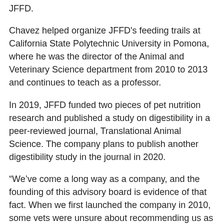JFFD.
Chavez helped organize JFFD's feeding trails at California State Polytechnic University in Pomona, where he was the director of the Animal and Veterinary Science department from 2010 to 2013 and continues to teach as a professor.
In 2019, JFFD funded two pieces of pet nutrition research and published a study on digestibility in a peer-reviewed journal, Translational Animal Science. The company plans to publish another digestibility study in the journal in 2020.
“We’ve come a long way as a company, and the founding of this advisory board is evidence of that fact. When we first launched the company in 2010, some vets were unsure about recommending us as we were new. Now, with three published papers under our belts and very robust research planned for the future, vets have no problem not only recommending us, but partnering with us,” said Shawn Buckley, founder of JFFD.